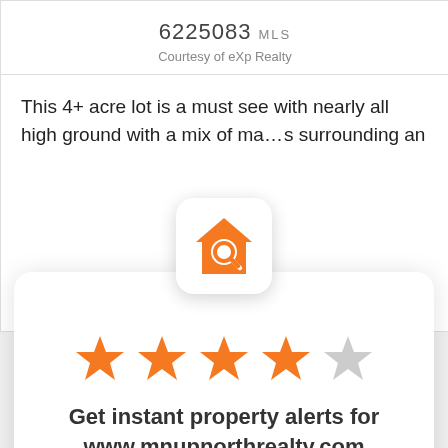6225083 MLS
Courtesy of eXp Realty
This 4+ acre lot is a must see with nearly all high ground with a mix of ma… s surrounding an
[Figure (logo): Orange house with magnifying glass app icon on white rounded square background]
[Figure (other): 4 filled orange stars and 1 empty/gray star rating (4 out of 5)]
Get instant property alerts for www.mnupnorthrealty.com
Get the MoveTo App
Not Now